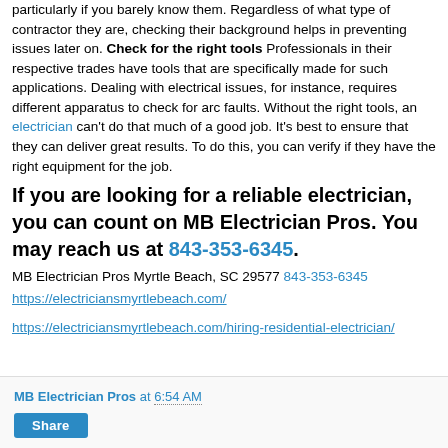particularly if you barely know them. Regardless of what type of contractor they are, checking their background helps in preventing issues later on. Check for the right tools Professionals in their respective trades have tools that are specifically made for such applications. Dealing with electrical issues, for instance, requires different apparatus to check for arc faults. Without the right tools, an electrician can't do that much of a good job. It's best to ensure that they can deliver great results. To do this, you can verify if they have the right equipment for the job.
If you are looking for a reliable electrician, you can count on MB Electrician Pros. You may reach us at 843-353-6345.
MB Electrician Pros Myrtle Beach, SC 29577 843-353-6345
https://electriciansmyrtlebeach.com/

https://electriciansmyrtlebeach.com/hiring-residential-electrician/
MB Electrician Pros at 6:54 AM
Share